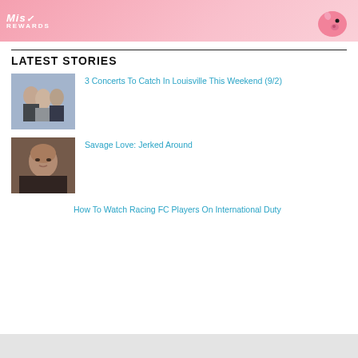[Figure (illustration): Pink banner advertisement with Mis Rewards logo on the left and a cartoon pig illustration on the right]
LATEST STORIES
[Figure (photo): Photo of a band/group of three young people]
3 Concerts To Catch In Louisville This Weekend (9/2)
[Figure (photo): Headshot photo of a middle-aged man against a brick wall background]
Savage Love: Jerked Around
How To Watch Racing FC Players On International Duty